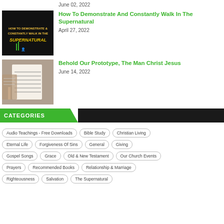June 02, 2022
[Figure (photo): Dark image with a yellow vehicle]
How To Demonstrate And Constantly Walk In The Supernatural
April 27, 2022
[Figure (photo): Dark image with text 'How To Demonstrate & Constantly Walk In The Supernatural']
Behold Our Prototype, The Man Christ Jesus
June 14, 2022
[Figure (photo): Image of a person reading a Bible]
CATEGORIES
Audio Teachings - Free Downloads
Bible Study
Christian Living
Eternal Life
Forgiveness Of Sins
General
Giving
Gospel Songs
Grace
Old & New Testament
Our Church Events
Prayers
Recommended Books
Relationship & Marriage
Righteousness
Salvation
The Supernatural